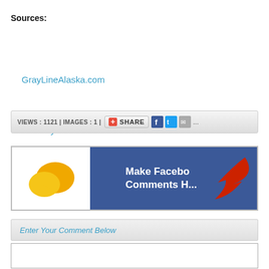Sources:
GrayLineAlaska.com
BearGrylls.com
Read More..
VIEWS : 1121 | IMAGES : 1 | SHARE
[Figure (screenshot): Facebook comments banner with chat bubble icon and arrow icon. Blue background with text 'Make Facebook Comments H...']
Enter Your Comment Below